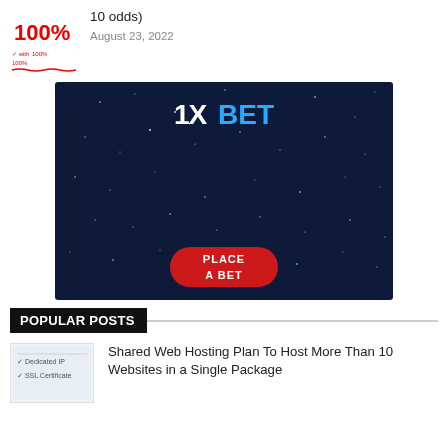[Figure (photo): Red 100% bonus promotional image with text in red on white background]
10 odds)
August 23, 2022
[Figure (advertisement): 1XBET advertisement banner with dark blue starry night sky background and red PLACE A BET button]
POPULAR POSTS
[Figure (screenshot): Small thumbnail image showing web hosting features with checkmarks for Dedicated IP and SSL Certificate]
Shared Web Hosting Plan To Host More Than 10 Websites in a Single Package